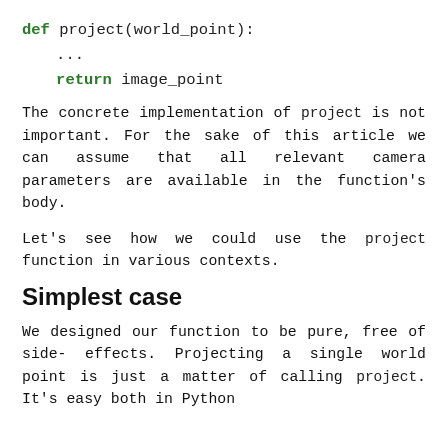def project(world_point):
    ...
    return image_point
The concrete implementation of project is not important. For the sake of this article we can assume that all relevant camera parameters are available in the function's body.
Let's see how we could use the project function in various contexts.
Simplest case
We designed our function to be pure, free of side-effects. Projecting a single world point is just a matter of calling project. It's easy both in Python